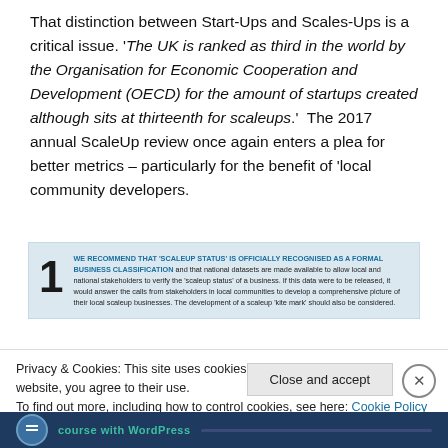That distinction between Start-Ups and Scales-Ups is a critical issue. 'The UK is ranked as third in the world by the Organisation for Economic Cooperation and Development (OECD) for the amount of startups created although sits at thirteenth for scaleups.'  The 2017 annual ScaleUp review once again enters a plea for better metrics – particularly for the benefit of 'local community developers.
1 WE RECOMMEND THAT 'SCALEUP STATUS' IS OFFICIALLY RECOGNISED AS A FORMAL BUSINESS CLASSIFICATION and that national datasets are made available to allow local and national stakeholders to verify the 'scaleup status' of a business. If this data were to be released, it would answer the calls from stakeholders in local communities to develop a comprehensive picture of their local scaleup businesses. The development of a scaleup 'kite mark' should also be considered.
Privacy & Cookies: This site uses cookies. By continuing to use this website, you agree to their use.
To find out more, including how to control cookies, see here: Cookie Policy